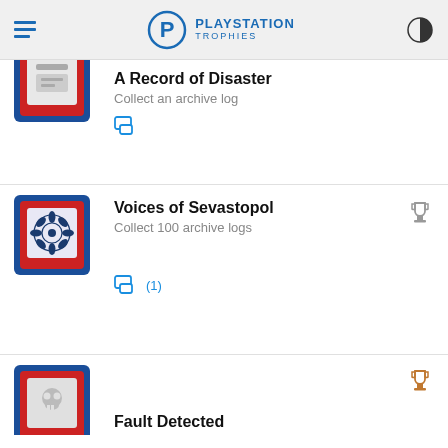PLAYSTATION TROPHIES
[Figure (screenshot): Trophy entry: A Record of Disaster — Collect an archive log, with partial red/white trophy icon visible at top]
A Record of Disaster
Collect an archive log
[Figure (screenshot): Trophy entry: Voices of Sevastopol — Collect 100 archive logs, with circular gear/flower pattern trophy icon in red and blue frame, silver trophy cup indicator]
Voices of Sevastopol
Collect 100 archive logs
(1)
[Figure (screenshot): Trophy entry: Fault Detected — partial view, trophy icon shows skull in red frame with blue border, bronze trophy cup indicator]
Fault Detected